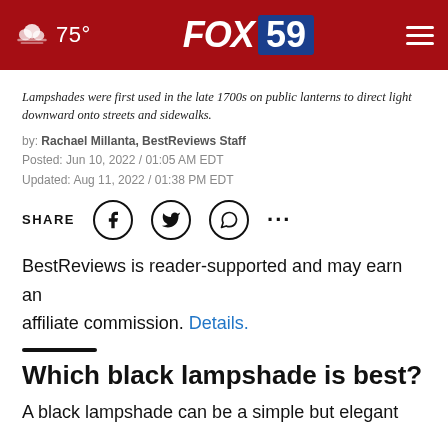75° FOX 59
Lampshades were first used in the late 1700s on public lanterns to direct light downward onto streets and sidewalks.
by: Rachael Millanta, BestReviews Staff
Posted: Jun 10, 2022 / 01:05 AM EDT
Updated: Aug 11, 2022 / 01:38 PM EDT
SHARE [Facebook] [Twitter] [WhatsApp] [More]
BestReviews is reader-supported and may earn an affiliate commission. Details.
Which black lampshade is best?
A black lampshade can be a simple but elegant